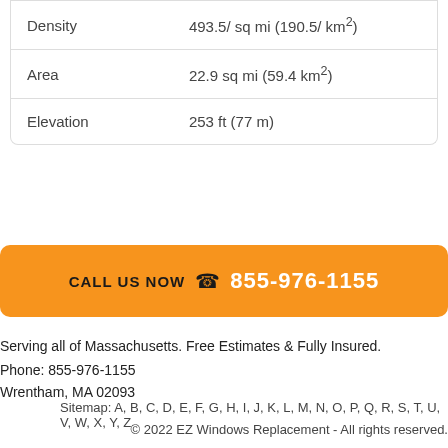| Density | 493.5/ sq mi (190.5/ km²) |
| Area | 22.9 sq mi (59.4 km²) |
| Elevation | 253 ft (77 m) |
CALL US NOW  📞 855-976-1155
Serving all of Massachusetts. Free Estimates & Fully Insured.
Phone: 855-976-1155
Wrentham, MA 02093
Sitemap: A, B, C, D, E, F, G, H, I, J, K, L, M, N, O, P, Q, R, S, T, U, V, W, X, Y, Z
© 2022 EZ Windows Replacement - All rights reserved.